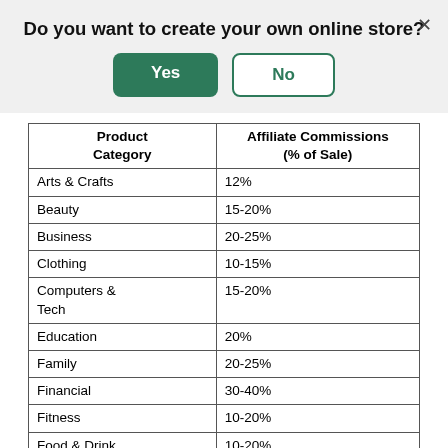Do you want to create your own online store?
| Product Category | Affiliate Commissions (% of Sale) |
| --- | --- |
| Arts & Crafts | 12% |
| Beauty | 15-20% |
| Business | 20-25% |
| Clothing | 10-15% |
| Computers & Tech | 15-20% |
| Education | 20% |
| Family | 20-25% |
| Financial | 30-40% |
| Fitness | 10-20% |
| Food & Drink | 10-20% |
| Hair | 10% |
| Health | 20-30%+ |
| Home | 10-20% |
| Jewelry | 15-30% |
| Pet | 10% |